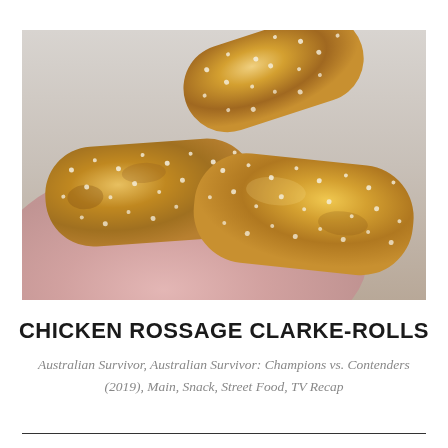[Figure (photo): Three golden-brown sesame seed chicken sausage rolls on a pink plate, with flaky pastry exterior and dark filling visible at one end]
CHICKEN ROSSAGE CLARKE-ROLLS
Australian Survivor, Australian Survivor: Champions vs. Contenders (2019), Main, Snack, Street Food, TV Recap